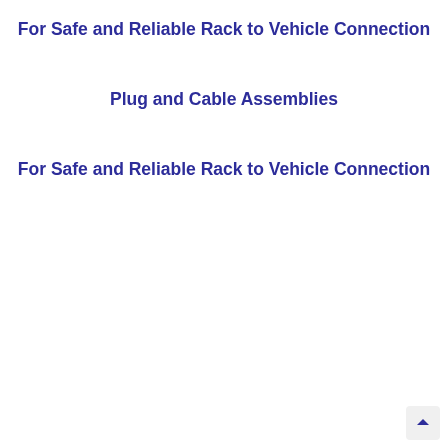For Safe and Reliable Rack to Vehicle Connection
Plug and Cable Assemblies
For Safe and Reliable Rack to Vehicle Connection